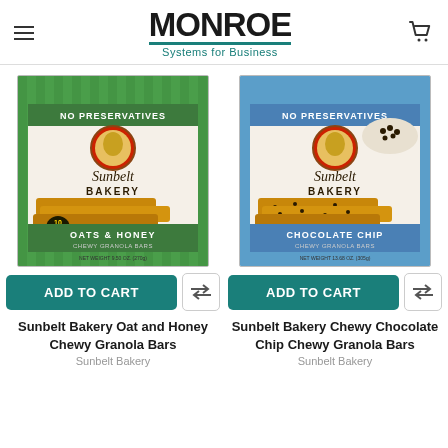MONROE Systems for Business
[Figure (photo): Sunbelt Bakery Oat and Honey Chewy Granola Bars product box with green background, showing granola bars, NO PRESERVATIVES label, 10 BARS, OATS & HONEY CHEWY GRANOLA BARS, NET WEIGHT 9.50 OZ. (270g)]
ADD TO CART
Sunbelt Bakery Oat and Honey Chewy Granola Bars
Sunbelt Bakery
[Figure (photo): Sunbelt Bakery Chewy Chocolate Chip Chewy Granola Bars product box with blue background, showing granola bars with chocolate chips, NO PRESERVATIVES label, CHOCOLATE CHIP CHEWY GRANOLA BARS, NET WEIGHT 13.68 OZ. (305g)]
ADD TO CART
Sunbelt Bakery Chewy Chocolate Chip Chewy Granola Bars
Sunbelt Bakery